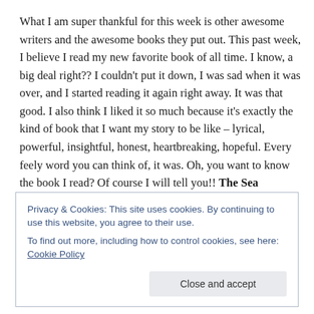What I am super thankful for this week is other awesome writers and the awesome books they put out. This past week, I believe I read my new favorite book of all time. I know, a big deal right?? I couldn't put it down, I was sad when it was over, and I started reading it again right away. It was that good. I also think I liked it so much because it's exactly the kind of book that I want my story to be like – lyrical, powerful, insightful, honest, heartbreaking, hopeful. Every feely word you can think of, it was. Oh, you want to know the book I read? Of course I will tell you!! The Sea
Privacy & Cookies: This site uses cookies. By continuing to use this website, you agree to their use.
To find out more, including how to control cookies, see here: Cookie Policy